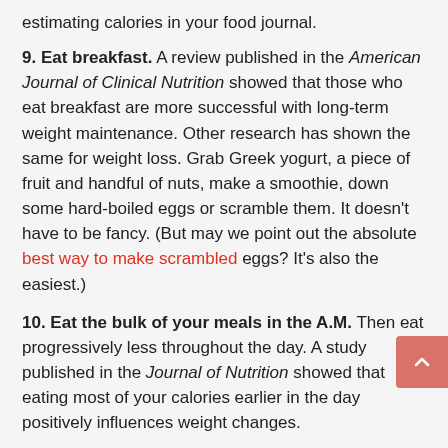estimating calories in your food journal.
9. Eat breakfast. A review published in the American Journal of Clinical Nutrition showed that those who eat breakfast are more successful with long-term weight maintenance. Other research has shown the same for weight loss. Grab Greek yogurt, a piece of fruit and handful of nuts, make a smoothie, down some hard-boiled eggs or scramble them. It doesn't have to be fancy. (But may we point out the absolute best way to make scrambled eggs? It's also the easiest.)
10. Eat the bulk of your meals in the A.M. Then eat progressively less throughout the day. A study published in the Journal of Nutrition showed that eating most of your calories earlier in the day positively influences weight changes.
11. To burn more calories, stay active. This means not sitting in front of a computer, TV, phone, etc all day. Stand and you'll burn more and be more productive. Taking the stairs instead of the elevator can help burn more calories,